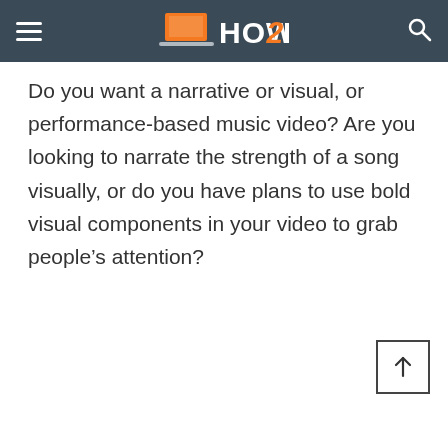HOW2PC
Do you want a narrative or visual, or performance-based music video? Are you looking to narrate the strength of a song visually, or do you have plans to use bold visual components in your video to grab people’s attention?